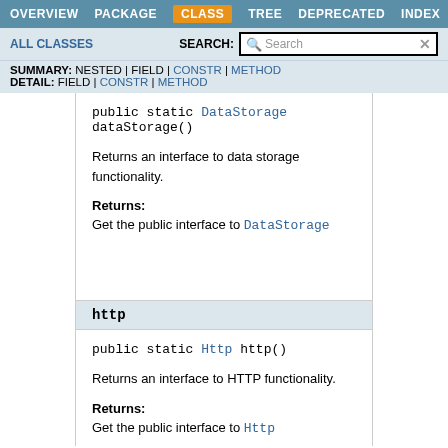OVERVIEW  PACKAGE  CLASS  TREE  DEPRECATED  INDEX
ALL CLASSES   SEARCH:
SUMMARY: NESTED | FIELD | CONSTR | METHOD  DETAIL: FIELD | CONSTR | METHOD
public static DataStorage dataStorage()
Returns an interface to data storage functionality.
Returns:
Get the public interface to DataStorage
http
public static Http http()
Returns an interface to HTTP functionality.
Returns:
Get the public interface to Http